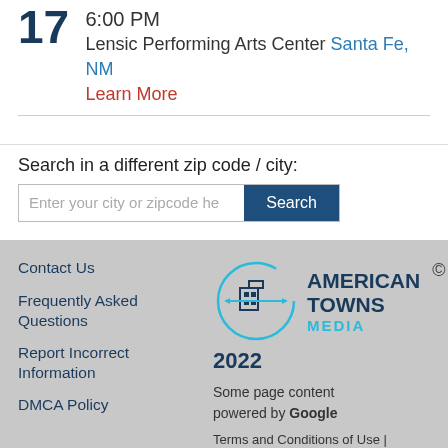17  6:00 PM
Lensic Performing Arts Center Santa Fe, NM
Learn More
Search in a different zip code / city:
Enter your city or zipcode he  Search
Contact Us
Frequently Asked Questions
Report Incorrect Information
DMCA Policy
[Figure (logo): American Towns Media logo with circular building/city icon, year 2022]
Some page content powered by Google
Terms and Conditions of Use | Privacy Policy  Contact U...